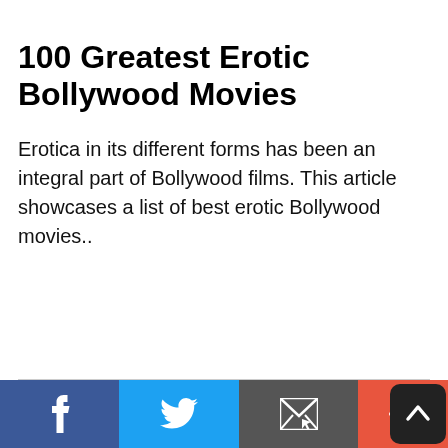100 Greatest Erotic Bollywood Movies
Erotica in its different forms has been an integral part of Bollywood films. This article showcases a list of best erotic Bollywood movies..
[Figure (other): Social media share bar at bottom with Facebook (blue), Twitter (light blue), Email (gray), Plus (red-orange) buttons, and a scroll-to-top button (dark rounded square with up arrow)]